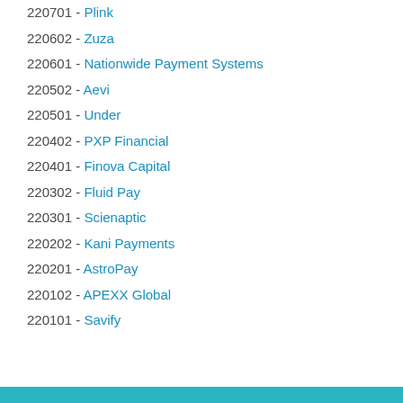220701 - Plink
220602 - Zuza
220601 - Nationwide Payment Systems
220502 - Aevi
220501 - Under
220402 - PXP Financial
220401 - Finova Capital
220302 - Fluid Pay
220301 - Scienaptic
220202 - Kani Payments
220201 - AstroPay
220102 - APEXX Global
220101 - Savify